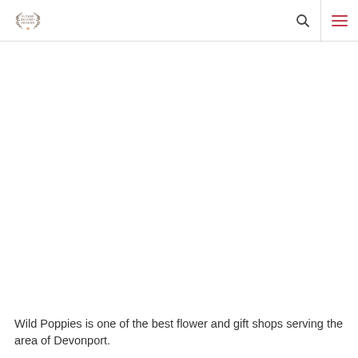Flower Delivery Reviews [logo] [search icon] [menu icon]
Wild Poppies is one of the best flower and gift shops serving the area of Devonport.